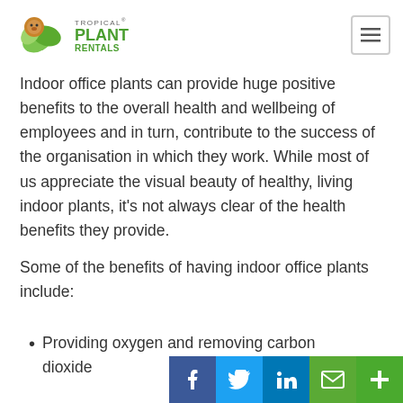[Figure (logo): Tropical Plant Rentals logo with green leaves and a cartoon animal icon]
Indoor office plants can provide huge positive benefits to the overall health and wellbeing of employees and in turn, contribute to the success of the organisation in which they work. While most of us appreciate the visual beauty of healthy, living indoor plants, it’s not always clear of the health benefits they provide.
Some of the benefits of having indoor office plants include:
Providing oxygen and removing carbon dioxide